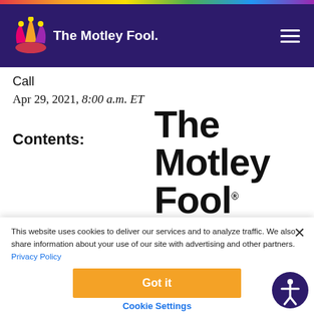[Figure (logo): The Motley Fool logo with jester hat in purple navigation header]
Call
Apr 29, 2021, 8:00 a.m. ET
[Figure (logo): The Motley Fool Transcripts large logo text on right side]
Contents:
This website uses cookies to deliver our services and to analyze traffic. We also share information about your use of our site with advertising and other partners. Privacy Policy
Got it
Cookie Settings